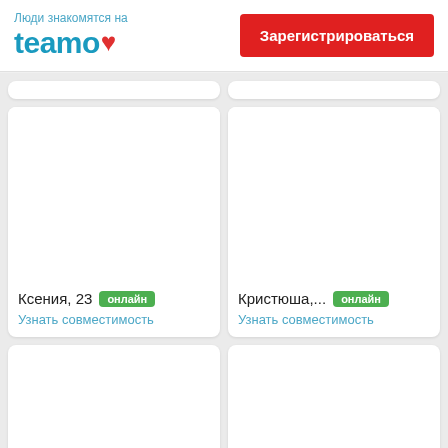Люди знакомятся на teamo
Зарегистрироваться
[Figure (screenshot): Profile card for Ксения, 23 with онлайн badge and Узнать совместимость link]
[Figure (screenshot): Profile card for Кристюша,... with онлайн badge and Узнать совместимость link]
[Figure (screenshot): Partial profile card at bottom left]
[Figure (screenshot): Partial profile card at bottom right]